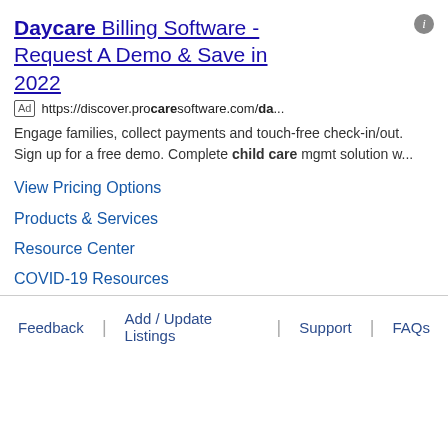Daycare Billing Software - Request A Demo & Save in 2022
Ad https://discover.procaresoftware.com/da...
Engage families, collect payments and touch-free check-in/out. Sign up for a free demo. Complete child care mgmt solution w...
View Pricing Options
Products & Services
Resource Center
COVID-19 Resources
Feedback | Add / Update Listings | Support | FAQs